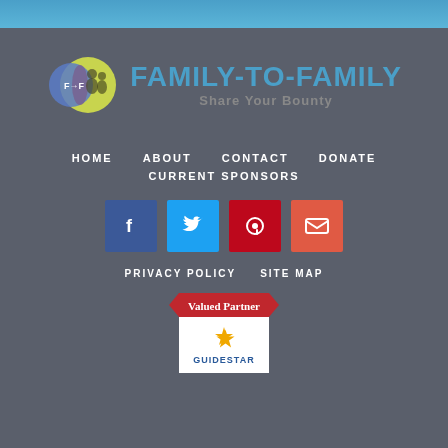[Figure (logo): Family-to-Family Share Your Bounty logo with two overlapping circles containing figures and F→F text]
HOME   ABOUT   CONTACT   DONATE   CURRENT SPONSORS
[Figure (infographic): Social media icons: Facebook, Twitter, Pinterest, Email]
PRIVACY POLICY   SITE MAP
[Figure (logo): GuideStar Valued Partner badge]